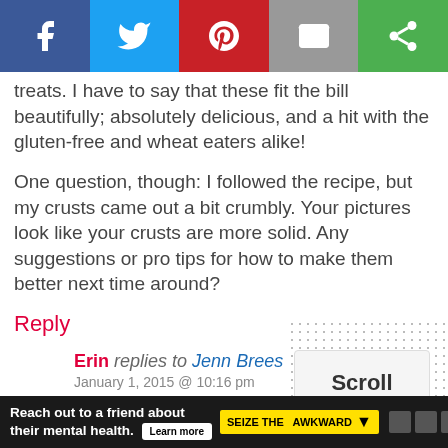[Figure (screenshot): Social share bar with Facebook, Twitter, Pinterest, Email, and another share button]
treats. I have to say that these fit the bill beautifully; absolutely delicious, and a hit with the gluten-free and wheat eaters alike!

One question, though: I followed the recipe, but my crusts came out a bit crumbly. Your pictures look like your crusts are more solid. Any suggestions or pro tips for how to make them better next time around?
Reply
Erin replies to Jenn Brees
January 1, 2015 @ 10:16 pm
I'm so happy you were able to find a recipe that went over well with the gluten-free and wheat eaters! My cr...
[Figure (screenshot): Scroll to top popup overlay]
[Figure (screenshot): Ad banner: Reach out to a friend about their mental health. Learn more. Seize the Awkward.]